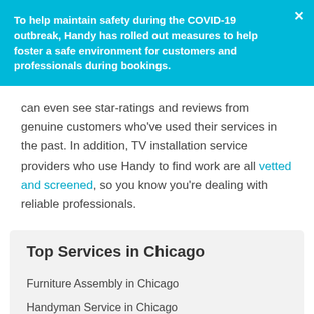To help maintain safety during the COVID-19 outbreak, Handy has rolled out measures to help foster a safe environment for customers and professionals during bookings.
can even see star-ratings and reviews from genuine customers who've used their services in the past. In addition, TV installation service providers who use Handy to find work are all vetted and screened, so you know you're dealing with reliable professionals.
Top Services in Chicago
Furniture Assembly in Chicago
Handyman Service in Chicago
Hanging Pictures & Shelves in Chicago